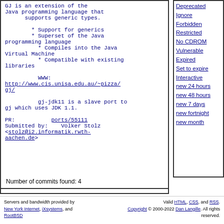GJ is an extension of the Java programming language that supports generic types.

* Support for generics
* Superset of the Java programming language
* Compiles into the Java Virtual Machine
* Compatible with existing libraries

WWW: http://www.cis.unisa.edu.au/~pizza/gj/

gj-jdk11 is a slave port to gj which uses JDK 1.1.

PR:         ports/55111
Submitted by:   Volker Stolz <stolz@i2.informatik.rwth-aachen.de>
Number of commits found: 4
Deprecated
Ignore
Forbidden
Restricted
No CDROM
Vulnerable
Expired
Set to expire
Interactive
new 24 hours
new 48 hours
new 7 days
new fortnight
new month
Servers and bandwidth provided by New York Internet, iXsystems, and RootBSD
Valid HTML, CSS, and RSS. Copyright © 2000-2022 Dan Langille. All rights reserved.